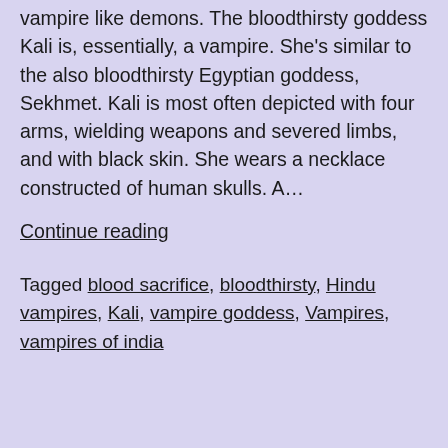vampire like demons. The bloodthirsty goddess Kali is, essentially, a vampire. She's similar to the also bloodthirsty Egyptian goddess, Sekhmet. Kali is most often depicted with four arms, wielding weapons and severed limbs, and with black skin. She wears a necklace constructed of human skulls. A…
Continue reading
Tagged blood sacrifice, bloodthirsty, Hindu vampires, Kali, vampire goddess, Vampires, vampires of india